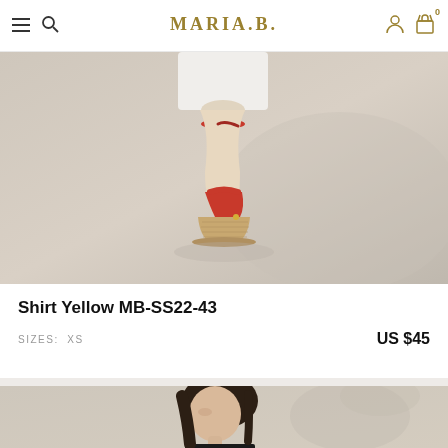MARIA.B.
[Figure (photo): Close-up photo of a woman's feet wearing red wedge espadrille heels with ankle strap, white pants visible at top, beige/tan background]
Shirt Yellow MB-SS22-43
SIZES: XS
US $45
[Figure (photo): Partial view of a female model with dark hair looking to the side, wearing dangly earrings, beige background with leaf shadows]